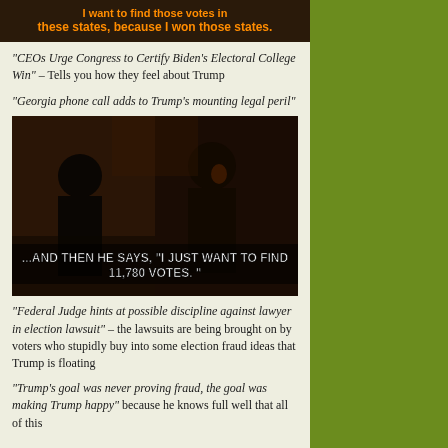[Figure (photo): Dark background image with orange bold text: 'I want to find those votes in these states, because I won those states.']
“CEOs Urge Congress to Certify Biden’s Electoral College Win” – Tells you how they feel about Trump
“Georgia phone call adds to Trump’s mounting legal peril”
[Figure (photo): Meme image of two men laughing (Good Fellas style). Text overlay reads: '...AND THEN HE SAYS, "I JUST WANT TO FIND 11,780 VOTES."']
“Federal Judge hints at possible discipline against lawyer in election lawsuit” – the lawsuits are being brought on by voters who stupidly buy into some election fraud ideas that Trump is floating
“Trump’s goal was never proving fraud, the goal was making Trump happy” because he knows full well that all of this